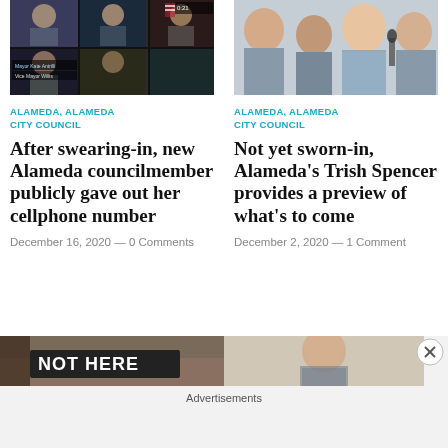[Figure (photo): Left article thumbnail: video conference screenshot with multiple people in grid view, appears to be a city council meeting]
[Figure (photo): Right article thumbnail: person holding microphone at what appears to be a meeting]
ALAMEDA, ALAMEDA CITY COUNCIL
After swearing-in, new Alameda councilmember publicly gave out her cellphone number
December 16, 2020 — 0 Comments
ALAMEDA, ALAMEDA CITY COUNCIL
Not yet sworn-in, Alameda's Trish Spencer provides a preview of what's to come
December 2, 2020 — 1 Comment
[Figure (photo): Bottom left thumbnail: image with text 'NOT HERE' visible, appears to be a ballot or sign]
[Figure (photo): Bottom right thumbnail: person seated, appears to be at a hearing or meeting]
Advertisements